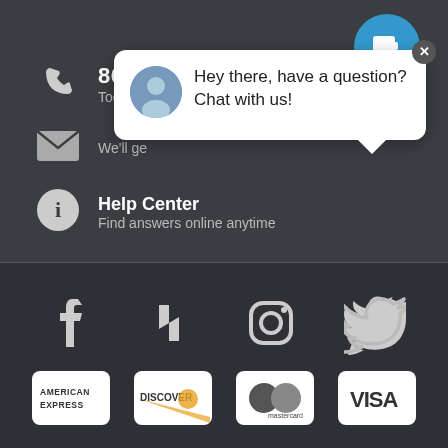[Figure (screenshot): Website footer with contact information section on dark background showing phone number 866-520-4240, email row, Help Center, and a live chat popup bubble saying 'Hey there, have a question? Chat with us!']
866-520-4240
Today's
We'll ge
Help Center
Find answers online anytime
[Figure (screenshot): Social media icons row: Facebook, Houzz, Instagram, Twitter on dark background. Payment icons: American Express, Discover, Mastercard, Visa.]